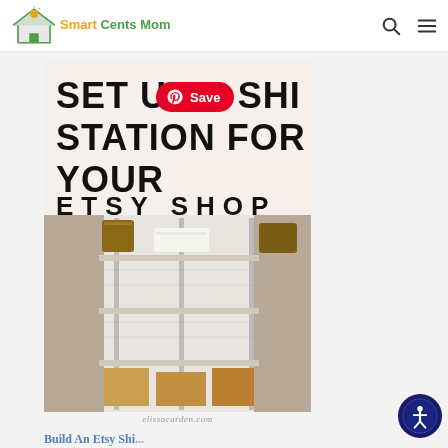Smart Cents Mom
[Figure (photo): A Pinterest-style blog image showing a metal wire shelving unit used as a shipping station for an Etsy shop, with cardboard boxes, folded fabric/cloth items, and wicker baskets. Text overlay reads: SET UP A SHIPPING STATION FOR YOUR ETSY SHOP. A Pinterest Save button is overlaid on the image.]
elissacarden.com
Build An Etsy Shi...